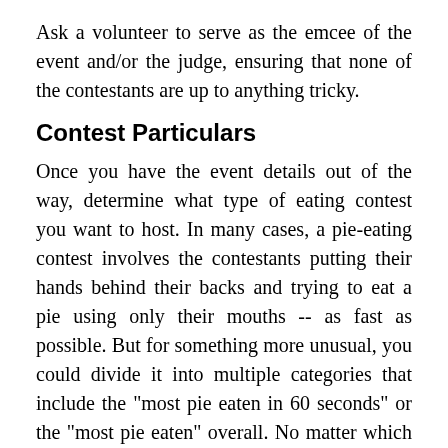Ask a volunteer to serve as the emcee of the event and/or the judge, ensuring that none of the contestants are up to anything tricky.
Contest Particulars
Once you have the event details out of the way, determine what type of eating contest you want to host. In many cases, a pie-eating contest involves the contestants putting their hands behind their backs and trying to eat a pie using only their mouths -- as fast as possible. But for something more unusual, you could divide it into multiple categories that include the "most pie eaten in 60 seconds" or the "most pie eaten" overall. No matter which you choose, divide the participants into age categories, offering a miniature pie to the littlest contestants, a